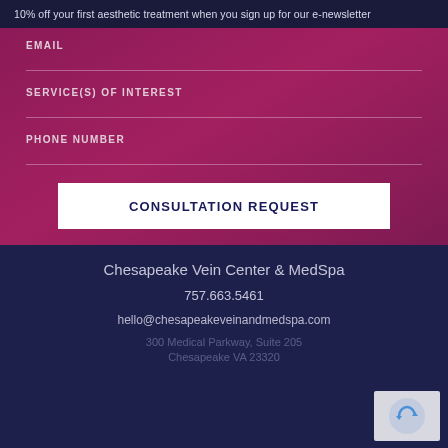10% off your first aesthetic treatment when you sign up for our e-newsletter
EMAIL
SERVICE(S) OF INTEREST
PHONE NUMBER
CONSULTATION REQUEST
Chesapeake Vein Center & MedSpa
757.663.5461
hello@chesapeakeveinandmedspa.com
300 Medical Parkway, Suite 205 Chesapeake VA 23320
757.663.5461